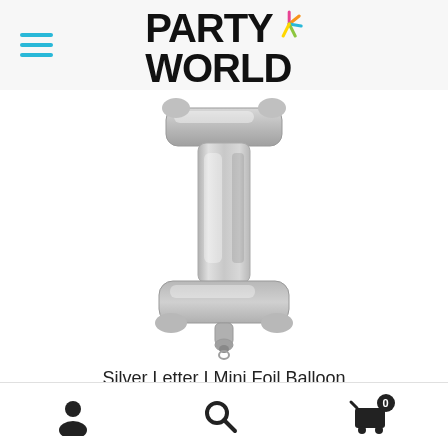Party World
[Figure (photo): Silver foil letter I mini balloon, metallic silver color with shiny reflective surface]
Silver Letter I Mini Foil Balloon
$3.00